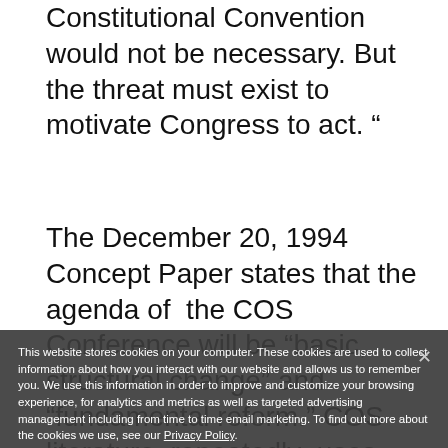Constitutional Convention would not be necessary. But the threat must exist to motivate Congress to act. “
The December 20, 1994 Concept Paper states that the agenda of the COS Conference will be “basic, structural change” and “fundamental reform.” COS literature repeatedly uses such rhetoric as “broad, fundamental, structural, long-term” changes. The “fundamentals of our government would be transformed.” COS literature does not answer this question, but calling a conference to consider such changes is a prescription for plenty of mischief.
This website stores cookies on your computer. These cookies are used to collect information about how you interact with our website and allows us to remember you. We use this information in order to improve and customize your browsing experience, for analytics and metrics as well as targeted advertising management including from time to time email marketing. To find out more about the cookies we use, see our Privacy Policy.